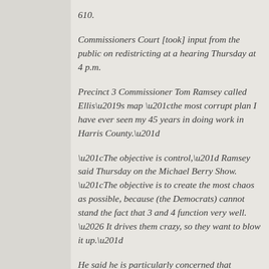610.
Commissioners Court [took] input from the public on redistricting at a hearing Thursday at 4 p.m.
Precinct 3 Commissioner Tom Ramsey called Ellis’s map “the most corrupt plan I have ever seen my 45 years in doing work in Harris County.”
“The objective is control,” Ramsey said Thursday on the Michael Berry Show. “The objective is to create the most chaos as possible, because (the Democrats) cannot stand the fact that 3 and 4 function very well. … It drives them crazy, so they want to blow it up.”
He said he is particularly concerned that